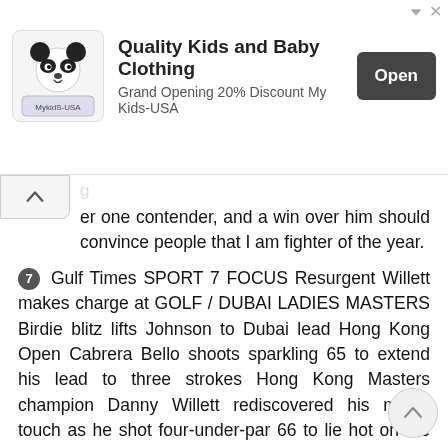[Figure (infographic): Advertisement banner for Quality Kids and Baby Clothing - My Kids-USA, with panda mascot logo, text 'Grand Opening 20% Discount My Kids-USA', and an 'Open' button. AdChoices icon in top right.]
er one contender, and a win over him should convince people that I am fighter of the year.
7 Gulf Times SPORT 7 FOCUS Resurgent Willett makes charge at GOLF / DUBAI LADIES MASTERS Birdie blitz lifts Johnson to Dubai lead Hong Kong Open Cabrera Bello shoots sparkling 65 to extend his lead to three strokes Hong Kong Masters champion Danny Willett rediscovered his magic touch as he shot four-under-par 66 to lie hot on the trail of Rafa Cabrera Bello at the Hong Kong Open yesterday. As injury-hampered defending champion Justin Rose and Ian Poulter left fuming after a late quadruple bogey flirted with the cut, Willett finally located the form that has eluded him for months. The 29-year-Englishman has slumped since winning his first major title in April, dropping out of the world s top 10, and he was delighted to lie joint third after round two. It s nice to be in this